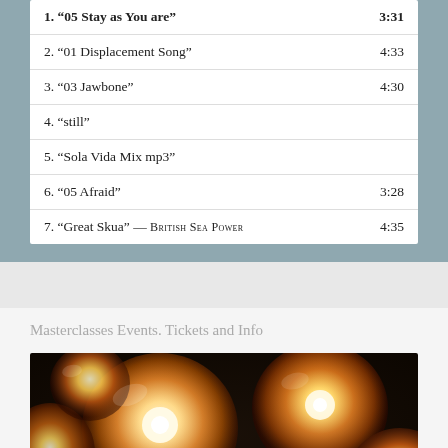| Track | Duration |
| --- | --- |
| 1. "05 Stay as You are" | 3:31 |
| 2. "01 Displacement Song" | 4:33 |
| 3. "03 Jawbone" | 4:30 |
| 4. "still" |  |
| 5. "Sola Vida Mix mp3" |  |
| 6. "05 Afraid" | 3:28 |
| 7. "Great Skua" — BRITISH SEA POWER | 4:35 |
Masterclasses Events. Tickets and Info
[Figure (photo): Close-up photo of multiple glowing incandescent light bulbs clustered together, warm golden light emanating from filaments]